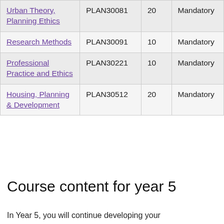| Urban Theory, Planning Ethics | PLAN30081 | 20 | Mandatory |
| Research Methods | PLAN30091 | 10 | Mandatory |
| Professional Practice and Ethics | PLAN30221 | 10 | Mandatory |
| Housing, Planning & Development | PLAN30512 | 20 | Mandatory |
Course content for year 5
In Year 5, you will continue developing your